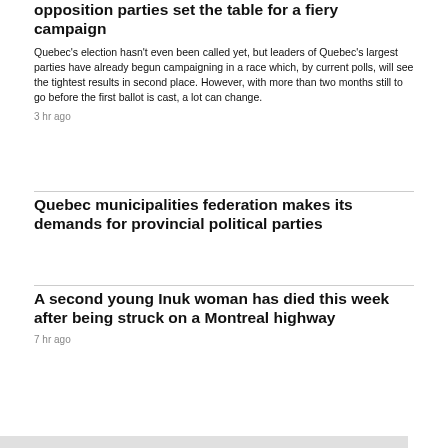opposition parties set the table for a fiery campaign
Quebec's election hasn't even been called yet, but leaders of Quebec's largest parties have already begun campaigning in a race which, by current polls, will see the tightest results in second place. However, with more than two months still to go before the first ballot is cast, a lot can change.
3 hr ago
Quebec municipalities federation makes its demands for provincial political parties
A second young Inuk woman has died this week after being struck on a Montreal highway
7 hr ago